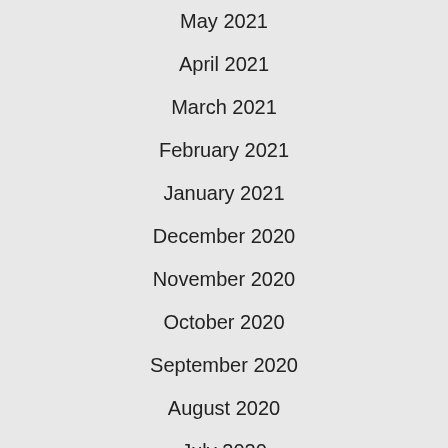May 2021
April 2021
March 2021
February 2021
January 2021
December 2020
November 2020
October 2020
September 2020
August 2020
July 2020
June 2020
May 2020
[Figure (illustration): Advertisement banner for Amazon forest protection: sloth image on left, text 'Just $2 can protect 1 acre of irreplaceable forest homes in the Amazon. How many acres are you willing to protect?' with green 'PROTECT FORESTS NOW' button]